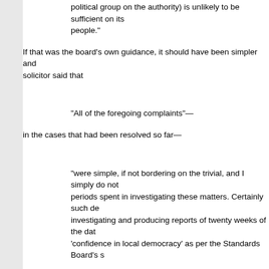political group on the authority) is unlikely to be sufficient on its people."
If that was the board's own guidance, it should have been simpler and solicitor said that
"All of the foregoing complaints"—
in the cases that had been resolved so far—
"were simple, if not bordering on the trivial, and I simply do not periods spent in investigating these matters. Certainly such de investigating and producing reports of twenty weeks of the dat 'confidence in local democracy' as per the Standards Board's s
The borough secretary and solicitor encapsulates in the following state
"To my mind, very serious concerns remain with regard to thre information passed to the ESO and upon which the ESO has a need further investigation."
In practice, however, the borough secretary and the chief executive be straight away as frivolous and vexatious or that a brief conversation be government officers in the authority concerned could have explained th government worked.
Mr. Clifton Brown : I am grateful to my hon. Friend for being genero